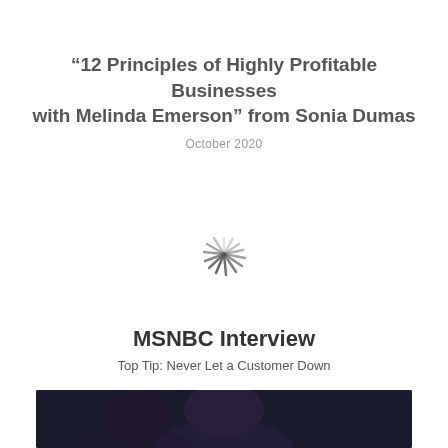“12 Principles of Highly Profitable Businesses with Melinda Emerson” from Sonia Dumas
October 2020
[Figure (other): Loading spinner / activity indicator graphic]
MSNBC Interview
Top Tip: Never Let a Customer Down
[Figure (photo): Photo of person(s) against a dark background, partially visible at bottom of page]